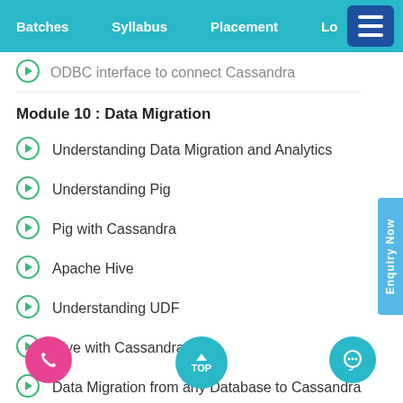Batches   Syllabus   Placement
ODBC interface to connect Cassandra
Module 10 : Data Migration
Understanding Data Migration and Analytics
Understanding Pig
Pig with Cassandra
Apache Hive
Understanding UDF
Hive with Cassandra
Data Migration from any Database to Cassandra
Module 11 : Performance Tuning and Monitoring
Understanding Performance Indicators